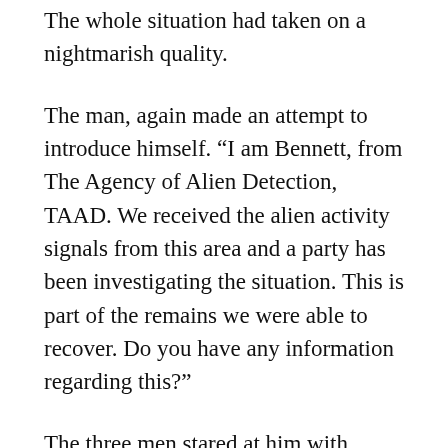The whole situation had taken on a nightmarish quality.
The man, again made an attempt to introduce himself. “I am Bennett, from The Agency of Alien Detection, TAAD. We received the alien activity signals from this area and a party has been investigating the situation. This is part of the remains we were able to recover. Do you have any information regarding this?”
The three men stared at him with gapping mouth and glazed looks. Who in their right mind would believe this